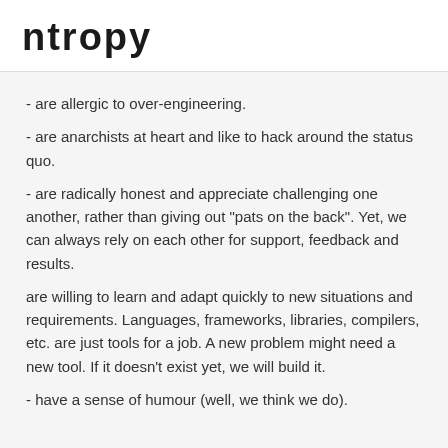ntropy
- are allergic to over-engineering.
- are anarchists at heart and like to hack around the status quo.
- are radically honest and appreciate challenging one another, rather than giving out "pats on the back". Yet, we can always rely on each other for support, feedback and results.
are willing to learn and adapt quickly to new situations and requirements. Languages, frameworks, libraries, compilers, etc. are just tools for a job. A new problem might need a new tool. If it doesn't exist yet, we will build it.
- have a sense of humour (well, we think we do).